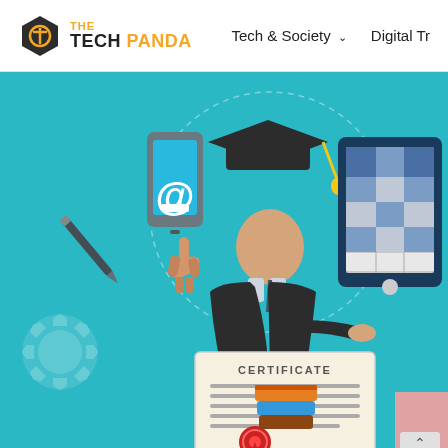[Figure (logo): The Tech Panda logo with hexagonal icon and text]
Tech & Society ∨   Digital Tr
[Figure (illustration): Educational technology illustration featuring a graduate in cap and gown pointing at a certificate, with a smartphone showing an @ symbol, a tablet with grid content, a pen, gear icons, and stacked books on a teal/cyan background]